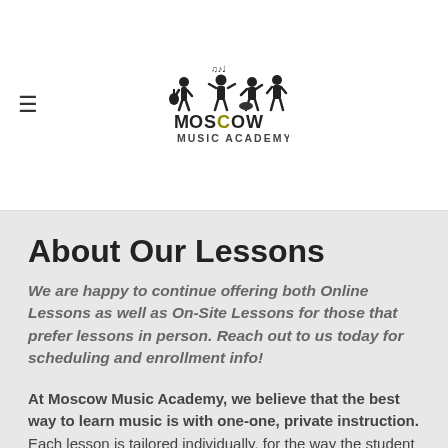[Figure (logo): Moscow Music Academy logo with silhouettes of musicians (guitarist, pianist, drummer) and musical notes above text 'MOSCOW MUSIC ACADEMY']
About Our Lessons
We are happy to continue offering both Online Lessons as well as On-Site Lessons for those that prefer lessons in person.  Reach out  to us today for scheduling and enrollment info!
At Moscow Music Academy, we believe that the best way to learn music is with one-one, private instruction.  Each lesson is tailored individually, for the way the student learns best.  We take into account age, experience, personality, and learning style.